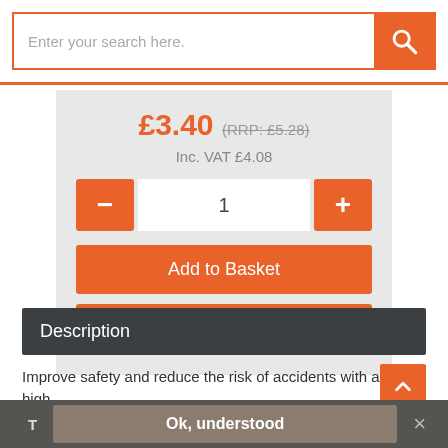[Figure (screenshot): Search bar with orange button and magnifying glass icon]
£3.40 (RRP: £5.28) Inc. VAT £4.08
[Figure (screenshot): Quantity selector with minus and plus orange buttons and input showing 1]
[Figure (screenshot): Add to Basket orange button]
[Figure (screenshot): Alternative Products orange button]
Description
Improve safety and reduce the risk of accidents with a high visibility...
T  Ok, understood  ×